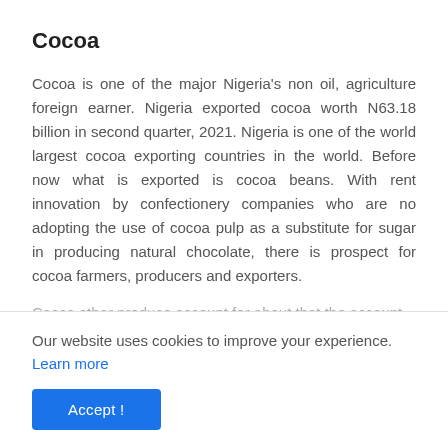Cocoa
Cocoa is one of the major Nigeria's non oil, agriculture foreign earner. Nigeria exported cocoa worth N63.18 billion in second quarter, 2021. Nigeria is one of the world largest cocoa exporting countries in the world. Before now what is exported is cocoa beans. With rent innovation by confectionery companies who are no adopting the use of cocoa pulp as a substitute for sugar in producing natural chocolate, there is prospect for cocoa farmers, producers and exporters.
Our website uses cookies to improve your experience. Learn more
Accept !